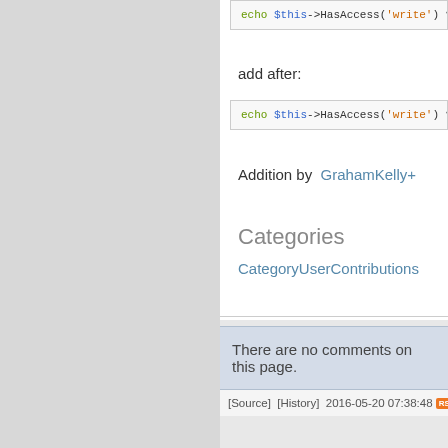[Figure (screenshot): Code block showing: echo $this->HasAccess('write') ? '<a href="".$]
add after:
[Figure (screenshot): Code block showing: echo $this->HasAccess('write') ? '<a href="".$]
Addition by  GrahamKelly+
Categories
CategoryUserContributions
There are no comments on this page.
[Source]  [History]  2016-05-20 07:38:48  Owner: NickDamou